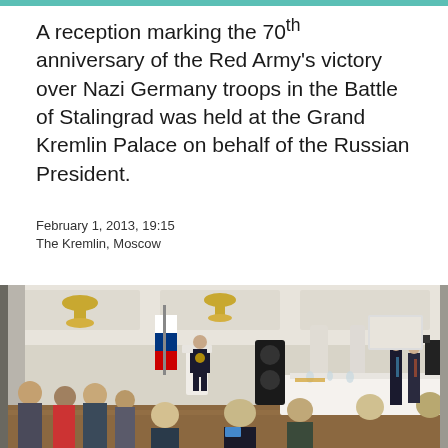A reception marking the 70th anniversary of the Red Army's victory over Nazi Germany troops in the Battle of Stalingrad was held at the Grand Kremlin Palace on behalf of the Russian President.
February 1, 2013, 19:15
The Kremlin, Moscow
[Figure (photo): A reception at the Grand Kremlin Palace. A speaker stands at a white podium with a Russian flag beside him, addressing a seated audience of elderly attendees at formal tables. Security personnel and officials stand in the background in an ornate white hall with chandeliers.]